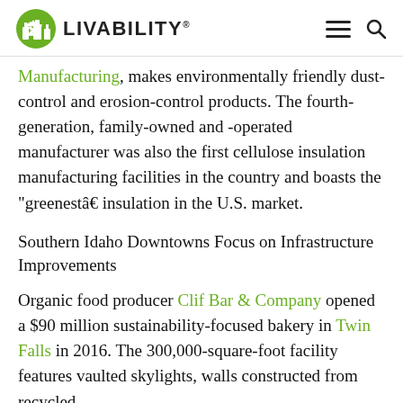LIVABILITY
Manufacturing, makes environmentally friendly dust-control and erosion-control products. The fourth-generation, family-owned and -operated manufacturer was also the first cellulose insulation manufacturing facilities in the country and boasts the “greenestâ€ insulation in the U.S. market.
Southern Idaho Downtowns Focus on Infrastructure Improvements
Organic food producer Clif Bar & Company opened a $90 million sustainability-focused bakery in Twin Falls in 2016. The 300,000-square-foot facility features vaulted skylights, walls constructed from recycled